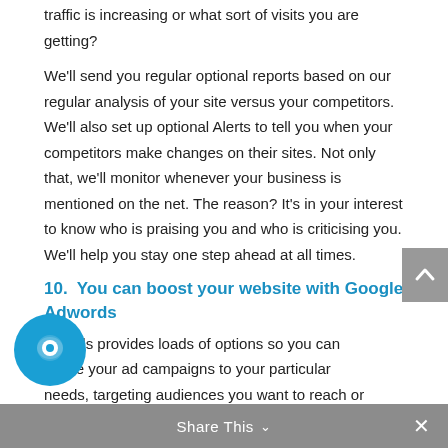traffic is increasing or what sort of visits you are getting?
We'll send you regular optional reports based on our regular analysis of your site versus your competitors. We'll also set up optional Alerts to tell you when your competitors make changes on their sites. Not only that, we'll monitor whenever your business is mentioned on the net. The reason? It's in your interest to know who is praising you and who is criticising you. We'll help you stay one step ahead at all times.
10.  You can boost your website with Google Adwords
gle Ads provides loads of options so you can omize your ad campaigns to your particular needs, targeting audiences you want to reach or
Share This ∨